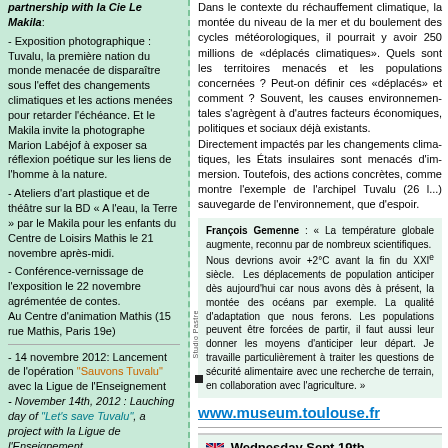partnership with la Cie Le Makila: - Exposition photographique : Tuvalu, la première nation du monde menacée de disparaître sous l'effet des changements climatiques et les actions menées pour retarder l'échéance. Et le Makila invite la photographe Marion Labéjof à exposer sa réflexion poétique sur les liens de l'homme à la nature. - Ateliers d'art plastique et de théâtre sur la BD « A l'eau, la Terre » par le Makila pour les enfants du Centre de Loisirs Mathis le 21 novembre après-midi. - Conférence-vernissage de l'exposition le 22 novembre agrémentée de contes. Au Centre d'animation Mathis (15 rue Mathis, Paris 19e)
- 14 novembre 2012: Lancement de l'opération "Sauvons Tuvalu" avec la Ligue de l'Enseignement - November 14th, 2012 : Lauching day of "Let's save Tuvalu", a project with la Ligue de l'Enseignement
- 19 octobre 2012: Projection de "Nuages au Paradis" suivie d'un débat, à l'initiative du Point Info Energie de
Dans le contexte du réchauffement clim... la montée du niveau de la mer et du bo... ment des cycles météorologiques, il pour... 250 millions de «déplacés climatiques»... Quels sont les territoires menacés et le... tions concernées ? Peut-on définir ces «d... et comment ? Souvent, les causes envir... tales s'agrègent à d'autres facteurs éco... politiques et sociaux déjà existants. Directement impactés par les changeme... tiques, les États insulaires sont menacé... mersion. Toutefois, des actions concrète... montre l'exemple de l'archipel Tuvalu (26... sauvegarde de l'environnement, que d'esp...
François Gemenne : « La température globale aug... par de nombreux scientifiques. Nous devrions a... avant la fin du XXIe siècle. Les déplacements de... anticiper dès aujourd'hui car nous avons dès à pr... la montée des océans par exemple. La qualité d... ferons. Les populations peuvent être forcées de... aussi leur donner les moyens d'anticiper leur dé... particulièrement à traiter les questions de sécuri... une recherche de terrain, en collaboration avec l'a...
www.museum.toulouse.fr
Wednesday Sept 19th September... farewell, by John H., Alofa Tuvalu d...
[Figure (photo): Outdoor scene with blue sky, greenery and an architectural stone arch structure at bottom right]